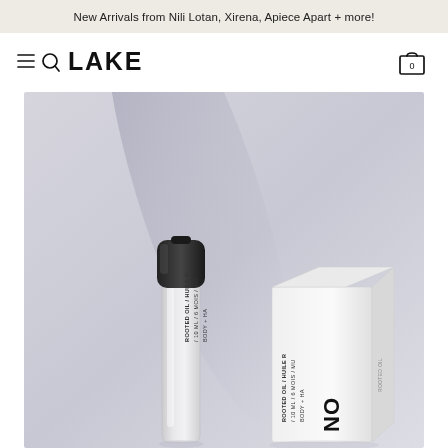New Arrivals from Nili Lotan, Xirena, Apiece Apart + more!
[Figure (logo): LAKE store logo with hamburger/search icon on left and shopping bag icon with 0 on right]
[Figure (photo): Product photo of a small roll-on oil bottle with black cap next to a white product box labeled 'ROOTED OIL / HUILE R... / 10 ML / 6 MOIS / MU... / BODY + HA...' against a soft grey/lavender abstract background]